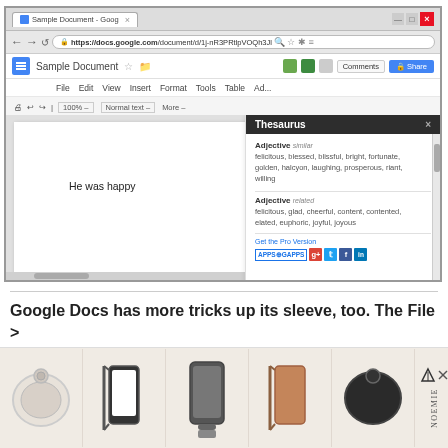[Figure (screenshot): Browser screenshot showing Google Docs with a Sample Document open. A Thesaurus panel is open on the right side showing synonyms for 'happy'. The document contains the text 'He was happy'. The thesaurus panel shows: Adjective similar: felicitous, blessed, blissful, bright, fortunate, golden, halcyon, laughing, prosperous, riant, willing. Adjective related: felicitous, glad, cheerful, content, contented, elated, euphoric, joyful, joyous. A 'Get the Pro Version' link and social media icons (APPS4GAPS, Google+, Twitter, Facebook, LinkedIn) appear at the bottom of the panel.]
Google Docs has more tricks up its sleeve, too. The File > Download as menu is particularly useful, allowing you to
[Figure (photo): Advertisement bar at bottom showing 5 product images of bags/accessories (round white pouch, black phone case with strap, phone case, tan phone case with strap, brown phone case, black round case) with NOEMIE branding, play and close icons.]